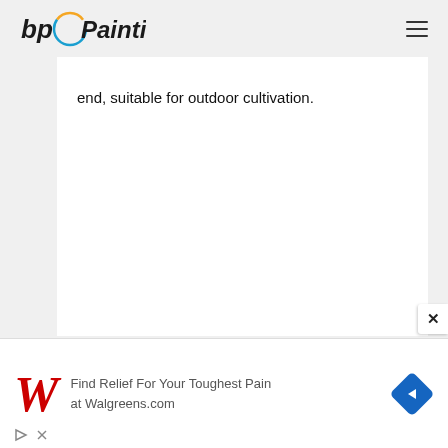bp Painting
end, suitable for outdoor cultivation.
[Figure (screenshot): White content card area, mostly blank]
[Figure (logo): Walgreens advertisement banner: 'Find Relief For Your Toughest Pain at Walgreens.com' with Walgreens W logo and blue diamond arrow icon]